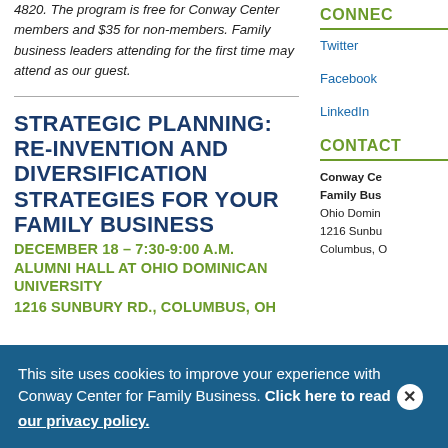4820. The program is free for Conway Center members and $35 for non-members. Family business leaders attending for the first time may attend as our guest.
STRATEGIC PLANNING: RE-INVENTION AND DIVERSIFICATION STRATEGIES FOR YOUR FAMILY BUSINESS
DECEMBER 18 – 7:30-9:00 A.M.
ALUMNI HALL AT OHIO DOMINICAN UNIVERSITY
1216 SUNBURY RD., COLUMBUS, OH
CONNEC
Twitter
Facebook
LinkedIn
CONTACT
Conway Ce
Family Bus
Ohio Domin
1216 Sunbu
Columbus, O
This site uses cookies to improve your experience with Conway Center for Family Business. Click here to read our privacy policy.